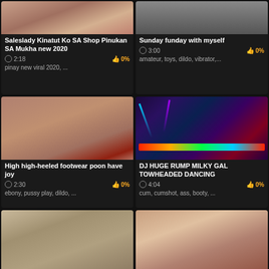[Figure (screenshot): Video thumbnail - skin-toned image top portion]
Saleslady Kinatut Ko SA Shop Pinukan SA Mukha new 2020
2:18  0%
pinay new viral 2020, ...
[Figure (screenshot): Video thumbnail - skin-toned image top portion]
Sunday funday with myself
3:00  0%
amateur, toys, dildo, vibrator,...
[Figure (screenshot): Video thumbnail - ebony sex toy scene]
High high-heeled footwear poon have joy
2:30  0%
ebony, pussy play, dildo, ...
[Figure (screenshot): Video thumbnail - DJ club dancer scene with colored lights]
DJ HUGE RUMP MILKY GAL TOWHEADED DANCING
4:04  0%
cum, cumshot, ass, booty, ...
[Figure (screenshot): Video thumbnail - bathroom scene]
[Figure (screenshot): Video thumbnail - POV oral scene]